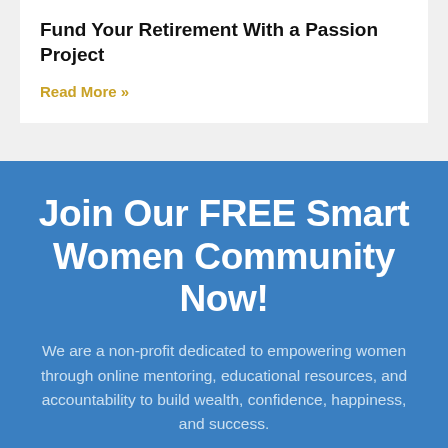Fund Your Retirement With a Passion Project
Read More »
Join Our FREE Smart Women Community Now!
We are a non-profit dedicated to empowering women through online mentoring, educational resources, and accountability to build wealth, confidence, happiness, and success.